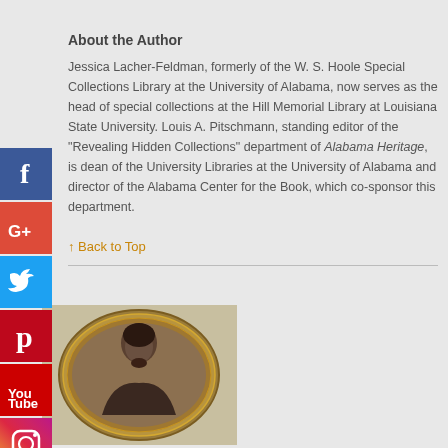About the Author
Jessica Lacher-Feldman, formerly of the W. S. Hoole Special Collections Library at the University of Alabama, now serves as the head of special collections at the Hill Memorial Library at Louisiana State University. Louis A. Pitschmann, standing editor of the “Revealing Hidden Collections” department of Alabama Heritage, is dean of the University Libraries at the University of Alabama and director of the Alabama Center for the Book, which co-sponsor this department.
Back to Top
[Figure (photo): Oval-framed historical portrait photograph of a man, in an ornate gold frame, shown from shoulders up, black and white or sepia toned.]